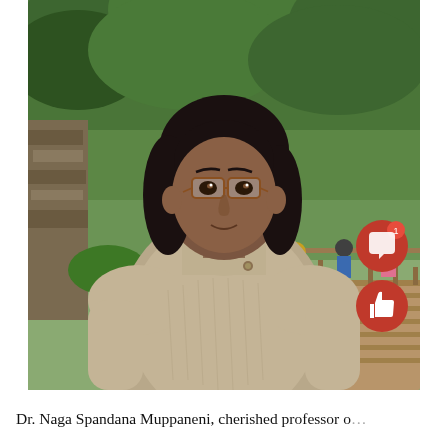[Figure (photo): A woman with dark shoulder-length hair and glasses wearing a beige cable-knit turtleneck sweater, standing outdoors in front of a wooden boardwalk/bridge with green forested hillside in the background. Other people visible on the boardwalk behind her.]
Dr. Naga Spandana Muppaneni, cherished professor o...